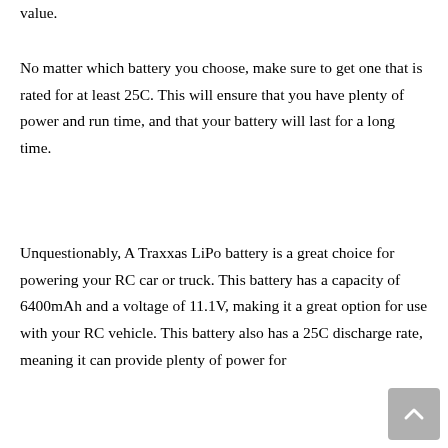value.
No matter which battery you choose, make sure to get one that is rated for at least 25C. This will ensure that you have plenty of power and run time, and that your battery will last for a long time.
Unquestionably, A Traxxas LiPo battery is a great choice for powering your RC car or truck. This battery has a capacity of 6400mAh and a voltage of 11.1V, making it a great option for use with your RC vehicle. This battery also has a 25C discharge rate, meaning it can provide plenty of power for